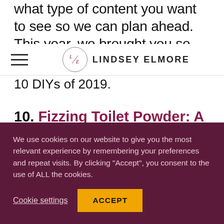what type of content you want to see so we can plan ahead. This year, we brought you so many DIY
LINDSEY ELMORE
10 DIYs of 2019.
10. Fizzing Toilet Powder: A Natural Toilet Cleaner
You told us that there's nothing quite like a fresh, clean bowl. Especially one that is kept that way
We use cookies on our website to give you the most relevant experience by remembering your preferences and repeat visits. By clicking “Accept”, you consent to the use of ALL the cookies.
Cookie settings
ACCEPT